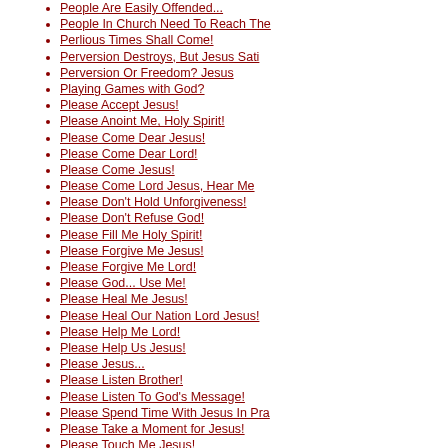People Are Easily Offended...
People In Church Need To Reach The
Perlious Times Shall Come!
Perversion Destroys, But Jesus Sati
Perversion Or Freedom? Jesus
Playing Games with God?
Please Accept Jesus!
Please Anoint Me, Holy Spirit!
Please Come Dear Jesus!
Please Come Dear Lord!
Please Come Jesus!
Please Come Lord Jesus, Hear Me
Please Don't Hold Unforgiveness!
Please Don't Refuse God!
Please Fill Me Holy Spirit!
Please Forgive Me Jesus!
Please Forgive Me Lord!
Please God... Use Me!
Please Heal Me Jesus!
Please Heal Our Nation Lord Jesus!
Please Help Me Lord!
Please Help Us Jesus!
Please Jesus...
Please Listen Brother!
Please Listen To God's Message!
Please Spend Time With Jesus In Pra
Please Take a Moment for Jesus!
Please Touch Me Jesus!
Please Touch Me, Lord Jesuis!
Please Us Me Jesus!
Pornography Doesn't Belong...